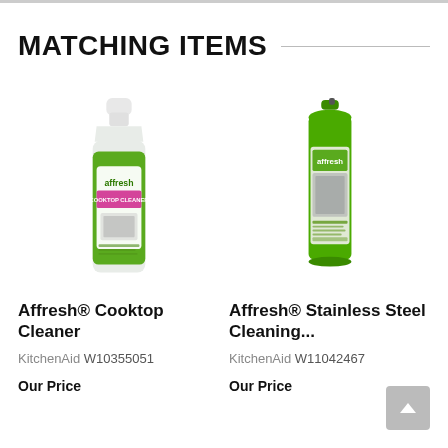MATCHING ITEMS
[Figure (photo): Affresh Cooktop Cleaner bottle with green label and pink accent band showing affresh branding]
Affresh® Cooktop Cleaner
KitchenAid W10355051
Our Price
[Figure (photo): Affresh Stainless Steel Cleaning spray can with green label]
Affresh® Stainless Steel Cleaning...
KitchenAid W11042467
Our Price